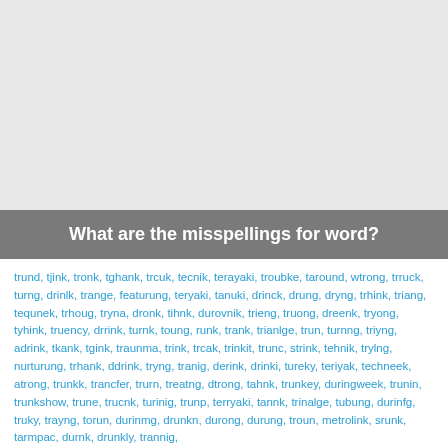What are the misspellings for word?
trund, tjink, tronk, tghank, trcuk, tecnik, terayaki, troubke, taround, wtrong, trruck, turng, drinlk, trange, featurung, teryaki, tanuki, drinck, drung, dryng, trhink, triang, tequnek, trhoug, tryna, dronk, tihnk, durovnik, trieng, truong, dreenk, tryong, tyhink, truency, drrink, turnk, toung, runk, trank, trianlge, trun, turnng, triyng, adrink, tkank, tgink, traunma, trink, trcak, trinkit, trunc, strink, tehnik, trylng, nurturung, trhank, ddrink, tryng, tranig, derink, drinki, tureky, teriyak, techneek, atrong, trunkk, trancfer, trurn, treatng, dtrong, tahnk, trunkey, duringweek, trunin, trunkshow, trune, trucnk, turinig, trunp, terryaki, tannk, trinalge, tubung, durinfg, truky, trayng, torun, durinmg, drunkn, durong, durung, troun, metrolink, srunk, tarmpac, durnk, drunkly, trannig,